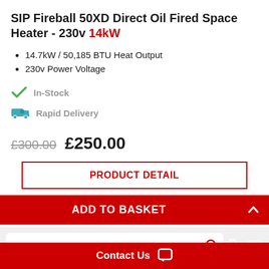SIP Fireball 50XD Direct Oil Fired Space Heater - 230v 14kW
14.7kW / 50,185 BTU Heat Output
230v Power Voltage
In-Stock
Rapid Delivery
£300.00  £250.00
PRODUCT DETAIL
ADD TO BASKET
SEARCH PRODUCTS
Contact Us